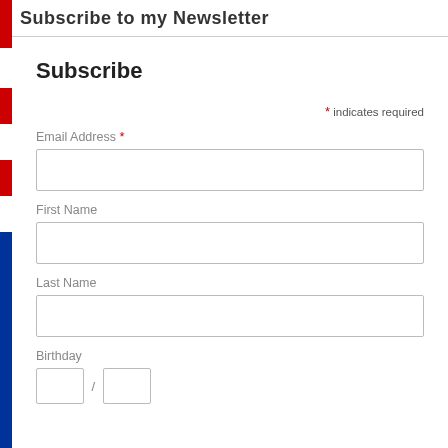Subscribe to my Newsletter
Subscribe
* indicates required
Email Address *
First Name
Last Name
Birthday